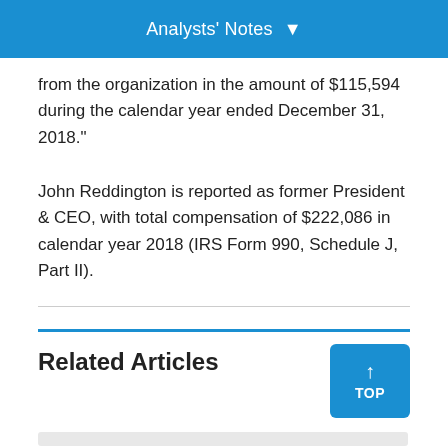Analysts' Notes
from the organization in the amount of $115,594 during the calendar year ended December 31, 2018."
John Reddington is reported as former President & CEO, with total compensation of $222,086 in calendar year 2018 (IRS Form 990, Schedule J, Part II).
Related Articles